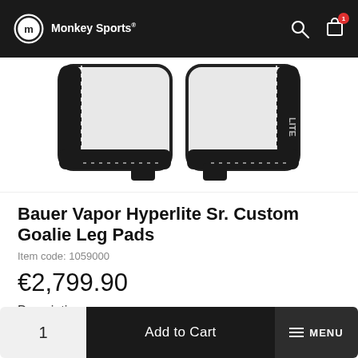Monkey Sports
[Figure (photo): Bauer Vapor Hyperlite goalie leg pads shown from above, white and black colorway, two pads side by side]
Bauer Vapor Hyperlite Sr. Custom Goalie Leg Pads
Item code: 1059000
€2,799.90
Description
1
Add to Cart
MENU